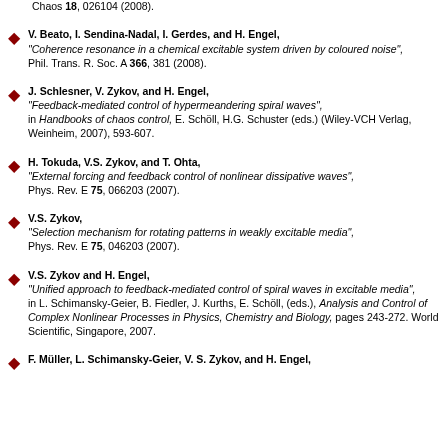V. Beato, I. Sendina-Nadal, I. Gerdes, and H. Engel, "Coherence resonance in a chemical excitable system driven by coloured noise", Phil. Trans. R. Soc. A 366, 381 (2008).
J. Schlesner, V. Zykov, and H. Engel, "Feedback-mediated control of hypermeandering spiral waves", in Handbooks of chaos control, E. Schöll, H.G. Schuster (eds.) (Wiley-VCH Verlag, Weinheim, 2007), 593-607.
H. Tokuda, V.S. Zykov, and T. Ohta, "External forcing and feedback control of nonlinear dissipative waves", Phys. Rev. E 75, 066203 (2007).
V.S. Zykov, "Selection mechanism for rotating patterns in weakly excitable media", Phys. Rev. E 75, 046203 (2007).
V.S. Zykov and H. Engel, "Unified approach to feedback-mediated control of spiral waves in excitable media", in L. Schimansky-Geier, B. Fiedler, J. Kurths, E. Schöll, (eds.), Analysis and Control of Complex Nonlinear Processes in Physics, Chemistry and Biology, pages 243-272. World Scientific, Singapore, 2007.
F. Müller, L. Schimansky-Geier, V. S. Zykov, and H. Engel,